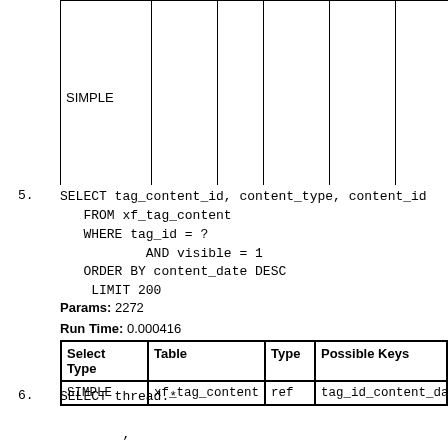| Select Type | Table | Type | Possible Keys | Key | ... |
| --- | --- | --- | --- | --- | --- |
| SIMPLE |  |  |  |  | no matching row in const table |
5. SELECT tag_content_id, content_type, content_id
   FROM xf_tag_content
   WHERE tag_id = ?
           AND visible = 1
   ORDER BY content_date DESC
    LIMIT 200
Params: 2272
Run Time: 0.000416
| Select Type | Table | Type | Possible Keys | Key |
| --- | --- | --- | --- | --- |
| SIMPLE | xf_tag_content | ref | tag_id_content_date | tag_id_c... |
6. SELECT thread.*

            ,
                    user.*, IF(user.username IS NULL, t...
                    node.title AS node_title, node.node_...
                    post.message, post.attach_count,
                    NULL AS thread_read_date,
                    0 AS user_post_count,